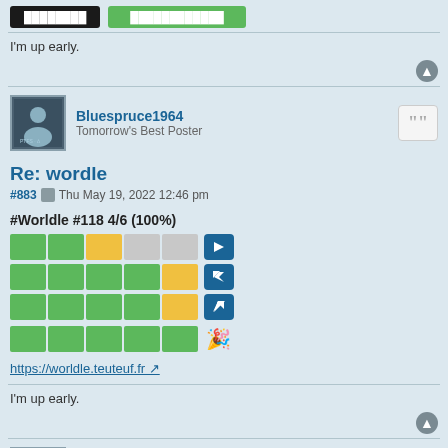[Figure (screenshot): Two buttons at top: dark/black button and green button]
I'm up early.
[Figure (screenshot): User avatar for Bluespruce1964]
Bluespruce1964
Tomorrow's Best Poster
Re: wordle
#883  Thu May 19, 2022 12:46 pm
#Worldle #118 4/6 (100%)
[Figure (infographic): Worldle game result grid with 4 rows of colored squares (green, yellow, gray) and directional arrow icons]
https://worldle.teuteuf.fr
I'm up early.
[Figure (screenshot): User avatar for Bluespruce1964]
Bluespruce1964
Tomorrow's Best Poster
Re: wordle